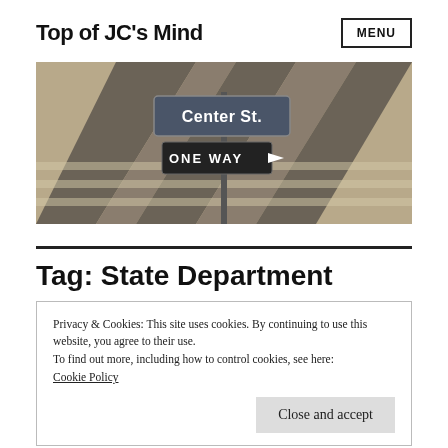Top of JC's Mind
[Figure (photo): Street intersection signs showing 'Center St.' and 'ONE WAY' arrow sign, photographed from above on a road with crosswalk markings, sepia/warm tones.]
Tag: State Department
Privacy & Cookies: This site uses cookies. By continuing to use this website, you agree to their use.
To find out more, including how to control cookies, see here:
Cookie Policy
evidence has become public about how